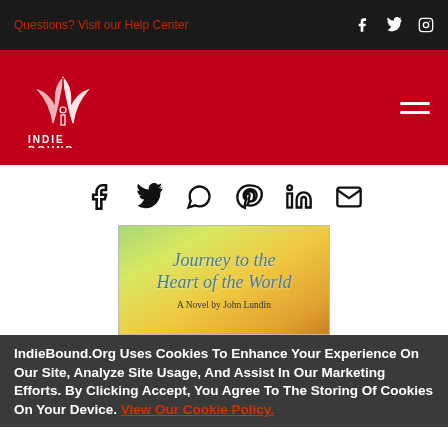Questions? Visit our Help Center
[Figure (logo): IndieBound logo — white bird/feather graphic above INDIE BOUND text on red background]
[Figure (infographic): Social share icons row: Facebook, Twitter, WhatsApp, Pinterest, LinkedIn, Email]
[Figure (illustration): Book cover: Journey to the Heart of the World — A Novel by John Lundin, colorful nature background]
IndieBound.Org Uses Cookies To Enhance Your Experience On Our Site, Analyze Site Usage, And Assist In Our Marketing Efforts. By Clicking Accept, You Agree To The Storing Of Cookies On Your Device. View Our Cookie Policy.